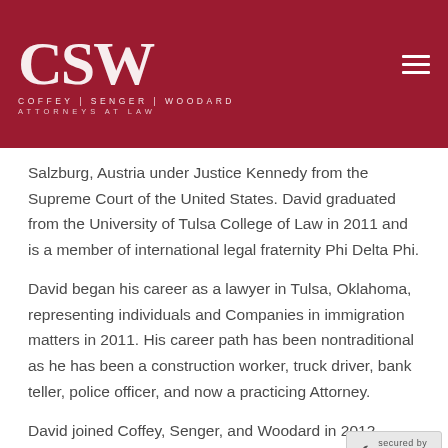[Figure (logo): CSW Coffey Senger Woodard Attorneys at Law logo on dark red background with hamburger menu icon]
Salzburg, Austria under Justice Kennedy from the Supreme Court of the United States. David graduated from the University of Tulsa College of Law in 2011 and is a member of international legal fraternity Phi Delta Phi.
David began his career as a lawyer in Tulsa, Oklahoma, representing individuals and Companies in immigration matters in 2011. His career path has been nontraditional as he has been a construction worker, truck driver, bank teller, police officer, and now a practicing Attorney.
David joined Coffey, Senger, and Woodard in 2012.
Practice Areas: